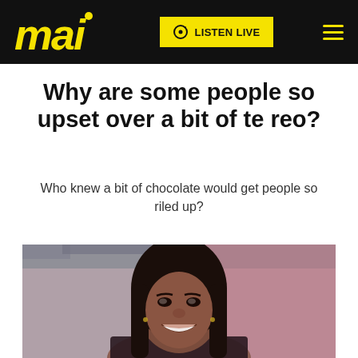mai — LISTEN LIVE
Why are some people so upset over a bit of te reo?
Who knew a bit of chocolate would get people so riled up?
[Figure (photo): Woman with long dark hair smiling, in a studio environment with pink background]